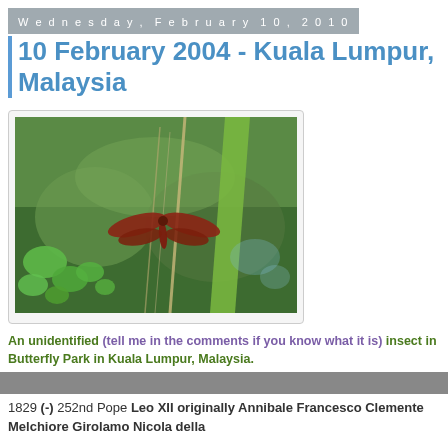Wednesday, February 10, 2010
10 February 2004 - Kuala Lumpur, Malaysia
[Figure (photo): A dragonfly with dark reddish-brown wings perched on a plant stem, surrounded by green aquatic plants and moss in Butterfly Park, Kuala Lumpur, Malaysia.]
An unidentified (tell me in the comments if you know what it is) insect in Butterfly Park in Kuala Lumpur, Malaysia.
1829 (-) 252nd Pope Leo XII originally Annibale Francesco Clemente Melchiore Girolamo Nicola della